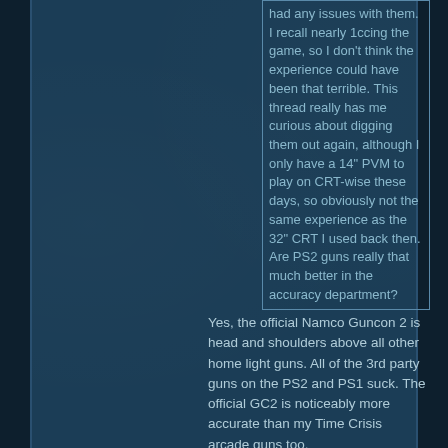had any issues with them. I recall nearly 1ccing the game, so I don't think the experience could have been that terrible. This thread really has me curious about digging them out again, although I only have a 14" PVM to play on CRT-wise these days, so obviously not the same experience as the 32" CRT I used back then. Are PS2 guns really that much better in the accuracy department?
Yes, the official Namco Guncon 2 is head and shoulders above all other home light guns. All of the 3rd party guns on the PS2 and PS1 suck. The official GC2 is noticeably more accurate than my Time Crisis arcade guns too.